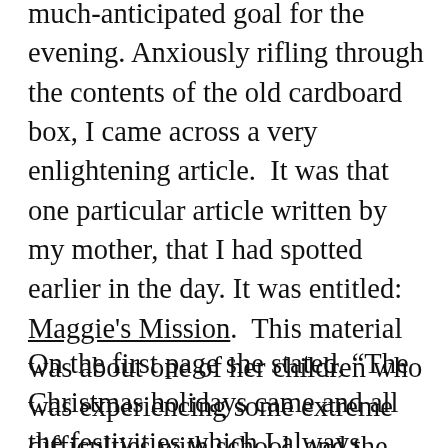much-anticipated goal for the evening. Anxiously rifling through the contents of the old cardboard box, I came across a very enlightening article.  It was that one particular article written by my mother, that I had spotted earlier in the day. It was entitled: Maggie's Mission.  This material was about one of her children who was experiencing some extreme difficulties with school, and the other child, who was overcoming some serious health issues.
On the first page she stated, “The Christmas holidays came and all the festivities which I always enjoyed loomed as giant hurdles to